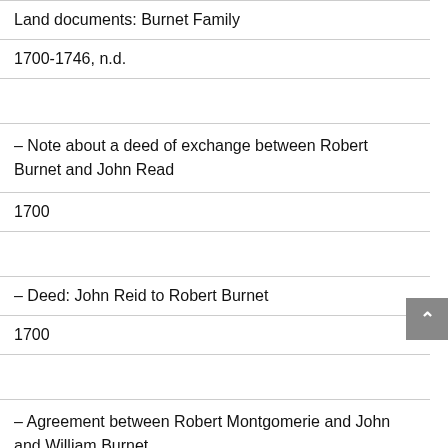Land documents: Burnet Family
1700-1746, n.d.
– Note about a deed of exchange between Robert Burnet and John Read
1700
– Deed: John Reid to Robert Burnet
1700
– Agreement between Robert Montgomerie and John and William Burnet